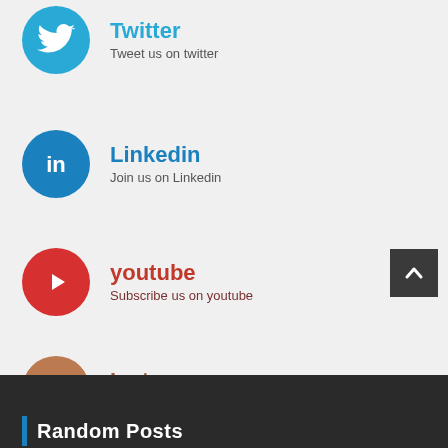Twitter — Tweet us on twitter
Linkedin — Join us on Linkedin
youtube — Subscribe us on youtube
Instagram — Join us on instagram
Random Posts